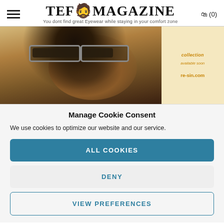TEF MAGAZINE — You dont find great Eyewear while staying in your comfort zone
[Figure (photo): Banner photo of a woman wearing stylish sunglasses with curly hair, alongside text 'collection', 'available soon', 're-sin.com' on a light yellow background]
Manage Cookie Consent
We use cookies to optimize our website and our service.
ALL COOKIES
DENY
VIEW PREFERENCES